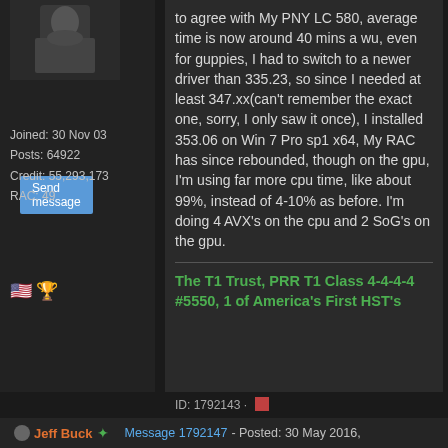[Figure (photo): User avatar photo showing a person in dark clothing]
Send message
Joined: 30 Nov 03
Posts: 64922
Credit: 55,293,173
RAC: 49
[Figure (illustration): US flag and trophy badge icons]
to agree with My PNY LC 580, average time is now around 40 mins a wu, even for guppies, I had to switch to a newer driver than 335.23, so since I needed at least 347.xx(can't remember the exact one, sorry, I only saw it once), I installed 353.06 on Win 7 Pro sp1 x64, My RAC has since rebounded, though on the gpu, I'm using far more cpu time, like about 99%, instead of 4-10% as before. I'm doing 4 AVX's on the cpu and 2 SoG's on the gpu.
The T1 Trust, PRR T1 Class 4-4-4-4 #5550, 1 of America's First HST's
ID: 1792143 ·
Jeff Buck
Message 1792147 - Posted: 30 May 2016,